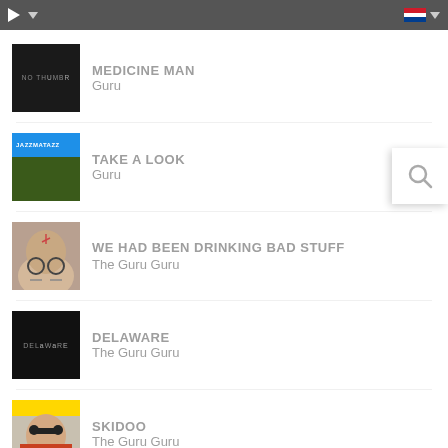[Figure (screenshot): Music player app top navigation bar with play button, dropdown arrow, flag icon (Netherlands), and dropdown arrow]
MEDICINE MAN
Guru
TAKE A LOOK
Guru
WE HAD BEEN DRINKING BAD STUFF
The Guru Guru
DELAWARE
The Guru Guru
SKIDOO
The Guru Guru
[Figure (screenshot): Search magnifier icon overlay on right side]
[Figure (screenshot): Partial album art visible at bottom of page (blue)]